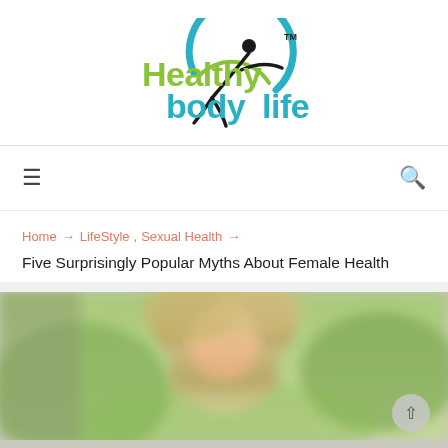[Figure (logo): Healthy body life logo with teal and olive green text and a circular icon with a stylized human figure]
[Figure (other): Navigation bar with hamburger menu icon on left and search icon on right]
Home → LifeStyle , Sexual Health →
Five Surprisingly Popular Myths About Female Health
[Figure (photo): Blurred photo of a woman with blonde hair, outdoor background with green tones]